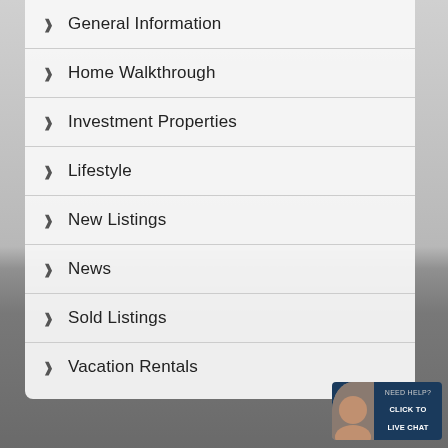General Information
Home Walkthrough
Investment Properties
Lifestyle
New Listings
News
Sold Listings
Vacation Rentals
[Figure (screenshot): Live chat widget with avatar and 'NEED HELP? CLICK TO LIVE CHAT' text on dark blue background]